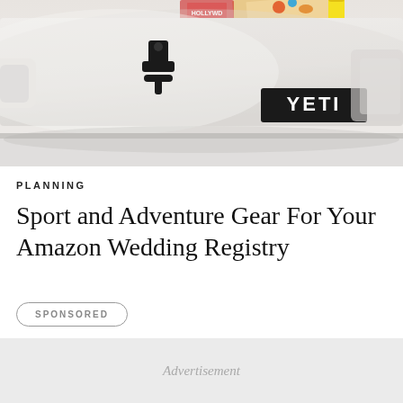[Figure (photo): White YETI cooler with black latches and YETI logo badge, with colorful items visible at the top. Close-up product photo with light gray background.]
PLANNING
Sport and Adventure Gear For Your Amazon Wedding Registry
SPONSORED
Advertisement